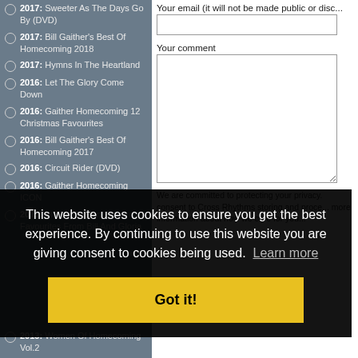2017: Sweeter As The Days Go By (DVD)
2017: Bill Gaither's Best Of Homecoming 2018
2017: Hymns In The Heartland
2016: Let The Glory Come Down
2016: Gaither Homecoming 12 Christmas Favourites
2016: Bill Gaither's Best Of Homecoming 2017
2016: Circuit Rider (DVD)
2016: Gaither Homecoming ICON
2015: In The Garden: Easter Favourites From Bill And Gloria
2013: Women Of Homecoming Vol.2
Your email (it will not be made public or dis...
Your comment
We are committed to protecting your privacy. consent to Cross Rhythms storing and proce... more information about how we care for you...
This website uses cookies to ensure you get the best experience. By continuing to use this website you are giving consent to cookies being used. Learn more
Got it!